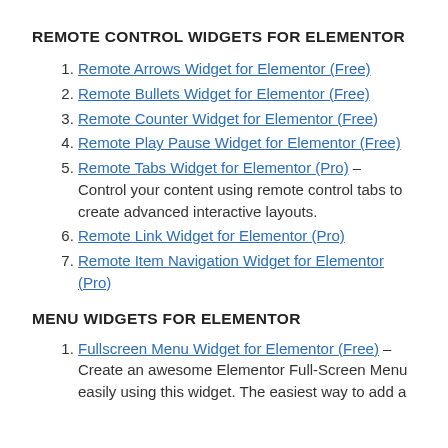REMOTE CONTROL WIDGETS FOR ELEMENTOR
Remote Arrows Widget for Elementor (Free)
Remote Bullets Widget for Elementor (Free)
Remote Counter Widget for Elementor (Free)
Remote Play Pause Widget for Elementor (Free)
Remote Tabs Widget for Elementor (Pro) – Control your content using remote control tabs to create advanced interactive layouts.
Remote Link Widget for Elementor (Pro)
Remote Item Navigation Widget for Elementor (Pro)
MENU WIDGETS FOR ELEMENTOR
Fullscreen Menu Widget for Elementor (Free) – Create an awesome Elementor Full-Screen Menu easily using this widget. The easiest way to add a